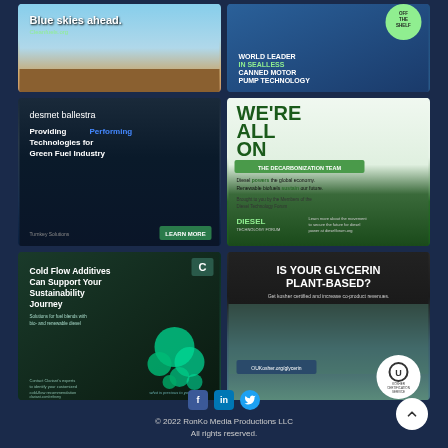[Figure (illustration): Blue skies ahead advertisement for Cleanfuels.org showing desert landscape with blue sky]
[Figure (illustration): World leader in sealless canned motor pump technology advertisement with Off The Shelf badge]
[Figure (illustration): Desmet Ballestra - Providing Performing Technologies for Green Fuel Industry advertisement]
[Figure (illustration): We're All On The Decarbonization Team advertisement by Diesel Technology Forum]
[Figure (illustration): Cold Flow Additives Can Support Your Sustainability Journey advertisement by Clariant]
[Figure (illustration): Is Your Glycerin Plant-Based? Get kosher certified advertisement with OUKosher.org/glycerin]
© 2022 RonKo Media Productions LLC All rights reserved.